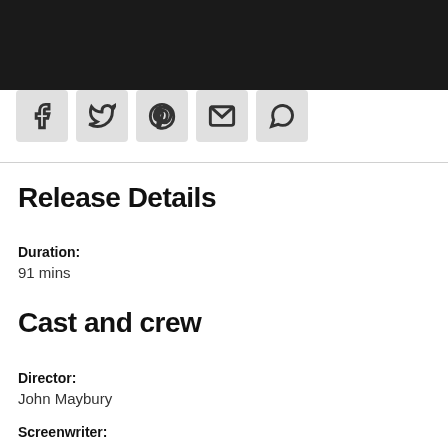[Figure (other): Dark navigation header bar with social sharing icon buttons (Facebook, Twitter, Pinterest, email/link, WhatsApp) on light grey background]
Release Details
Duration:
91 mins
Cast and crew
Director:
John Maybury
Screenwriter: